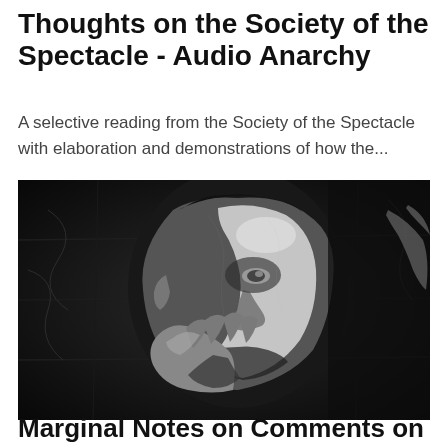Thoughts on the Society of the Spectacle - Audio Anarchy
A selective reading from the Society of the Spectacle with elaboration and demonstrations of how the...
[Figure (photo): Black and white photograph of an older man resting his face on his hand, looking contemplative, with dramatic lighting and shadow.]
Marginal Notes on Comments on